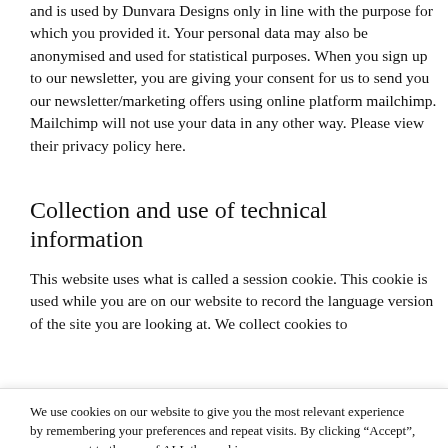and is used by Dunvara Designs only in line with the purpose for which you provided it. Your personal data may also be anonymised and used for statistical purposes. When you sign up to our newsletter, you are giving your consent for us to send you our newsletter/marketing offers using online platform mailchimp. Mailchimp will not use your data in any other way. Please view their privacy policy here.
Collection and use of technical information
This website uses what is called a session cookie. This cookie is used while you are on our website to record the language version of the site you are looking at. We collect cookies to
We use cookies on our website to give you the most relevant experience by remembering your preferences and repeat visits. By clicking “Accept”, you consent to the use of ALL the cookies.
Cookie settings   ACCEPT